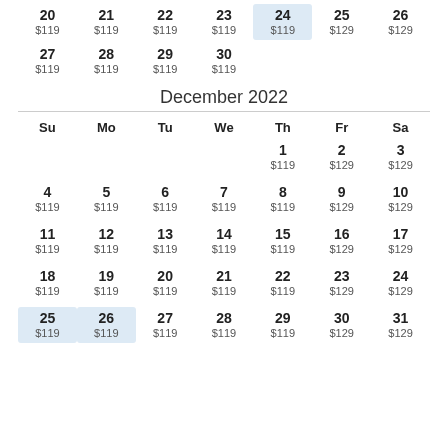| Su | Mo | Tu | We | Th | Fr | Sa |
| --- | --- | --- | --- | --- | --- | --- |
| 20
$119 | 21
$119 | 22
$119 | 23
$119 | 24
$119 | 25
$129 | 26
$129 |
| 27
$119 | 28
$119 | 29
$119 | 30
$119 |  |  |  |
December 2022
| Su | Mo | Tu | We | Th | Fr | Sa |
| --- | --- | --- | --- | --- | --- | --- |
|  |  |  |  | 1
$119 | 2
$129 | 3
$129 |
| 4
$119 | 5
$119 | 6
$119 | 7
$119 | 8
$119 | 9
$129 | 10
$129 |
| 11
$119 | 12
$119 | 13
$119 | 14
$119 | 15
$119 | 16
$129 | 17
$129 |
| 18
$119 | 19
$119 | 20
$119 | 21
$119 | 22
$119 | 23
$129 | 24
$129 |
| 25
$119 | 26
$119 | 27
$119 | 28
$119 | 29
$119 | 30
$129 | 31
$129 |